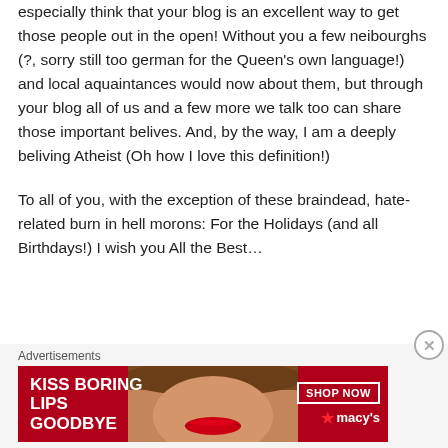especially think that your blog is an excellent way to get those people out in the open! Without you a few neibourghs (?, sorry still too german for the Queen's own language!) and local aquaintances would now about them, but through your blog all of us and a few more we talk too can share those important belives. And, by the way, I am a deeply beliving Atheist (Oh how I love this definition!)
To all of you, with the exception of these braindead, hate-related burn in hell morons: For the Holidays (and all Birthdays!) I wish you All the Best...
Advertisements
[Figure (other): Macy's advertisement banner with red background, woman's face with red lips, text 'KISS BORING LIPS GOODBYE', 'SHOP NOW' button, and Macy's star logo]